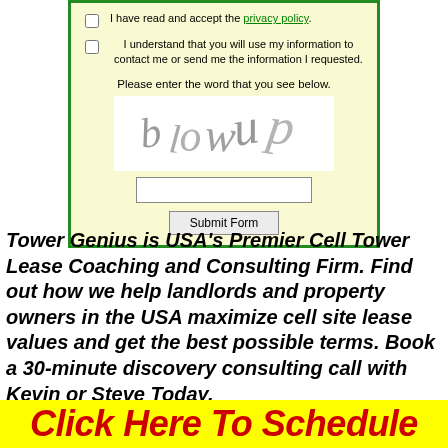[Figure (screenshot): Web form section with checkboxes, CAPTCHA image showing 'blowup', text input field, and Submit Form button on a light yellow background with green border]
Tower Genius is USA's Premier Cell Tower Lease Coaching and Consulting Firm. Find out how we help landlords and property owners in the USA maximize cell site lease values and get the best possible terms. Book a 30-minute discovery consulting call with Kevin or Steve Today.
Click Here To Schedule